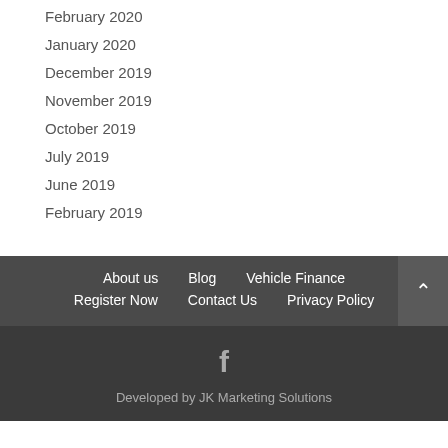February 2020
January 2020
December 2019
November 2019
October 2019
July 2019
June 2019
February 2019
About us  Blog  Vehicle Finance  Register Now  Contact Us  Privacy Policy  Developed by JK Marketing Solutions